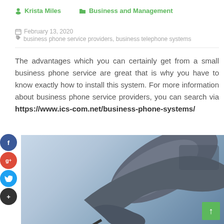Krista Miles   Business and Management
February 13, 2020   business phone service providers, business telephone systems
The advantages which you can certainly get from a small business phone service are great that is why you have to know exactly how to install this system. For more information about business phone service providers, you can search via https://www.ics-com.net/business-phone-systems/
[Figure (photo): Close-up photo of a business telephone handset on a light blue/gray background]